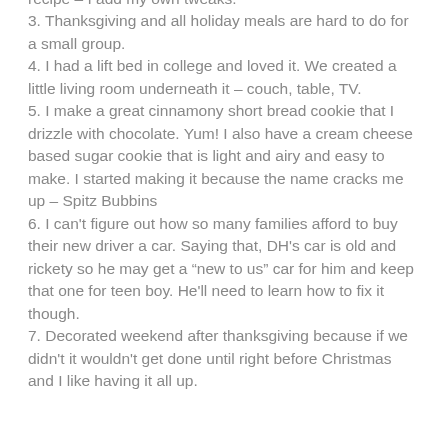recipe – I add my own tweaks.
3. Thanksgiving and all holiday meals are hard to do for a small group.
4. I had a lift bed in college and loved it. We created a little living room underneath it – couch, table, TV.
5. I make a great cinnamony short bread cookie that I drizzle with chocolate. Yum! I also have a cream cheese based sugar cookie that is light and airy and easy to make. I started making it because the name cracks me up – Spitz Bubbins
6. I can't figure out how so many families afford to buy their new driver a car. Saying that, DH's car is old and rickety so he may get a “new to us” car for him and keep that one for teen boy. He'll need to learn how to fix it though.
7. Decorated weekend after thanksgiving because if we didn't it wouldn't get done until right before Christmas and I like having it all up.